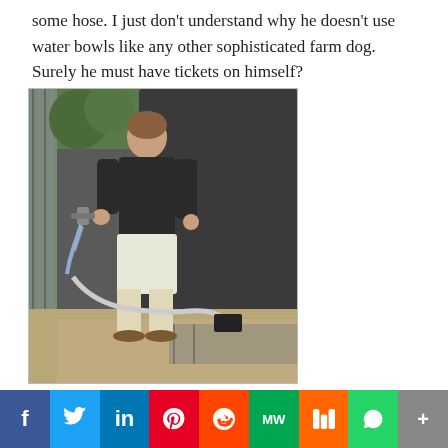some hose. I just don't understand why he doesn't use water bowls like any other sophisticated farm dog. Surely he must have tickets on himself?
[Figure (photo): A man wearing a black t-shirt and white shorts, standing near a water tank and hose on gravel ground, with corrugated iron sheeting visible on the left.]
f  Twitter  in  Pinterest  Reddit  MW  Mix  WhatsApp  +